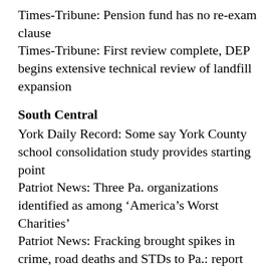Times-Tribune: Pension fund has no re-exam clause
Times-Tribune: First review complete, DEP begins extensive technical review of landfill expansion
South Central
York Daily Record: Some say York County school consolidation study provides starting point
Patriot News: Three Pa. organizations identified as among ‘America’s Worst Charities’
Patriot News: Fracking brought spikes in crime, road deaths and STDs to Pa.: report
Patriot News: New U.S.-Cuban policy embraced by some, torched by others
The Sentinel: Multiple cases move to high